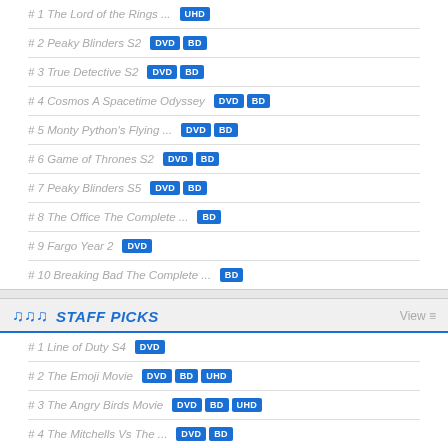# 1 The Lord of the Rings ... UHD
# 2 Peaky Blinders S2 DVD BD
# 3 True Detective S2 DVD BD
# 4 Cosmos A Spacetime Odyssey DVD BD
# 5 Monty Python's Flying ... DVD BD
# 6 Game of Thrones S2 DVD BD
# 7 Peaky Blinders S5 DVD BD
# 8 The Office The Complete ... BD
# 9 Fargo Year 2 DVD
# 10 Breaking Bad The Complete ... BD
STAFF PICKS
# 1 Line of Duty S4 DVD
# 2 The Emoji Movie DVD BD UHD
# 3 The Angry Birds Movie DVD BD UHD
# 4 The Mitchells Vs The ... DVD BD